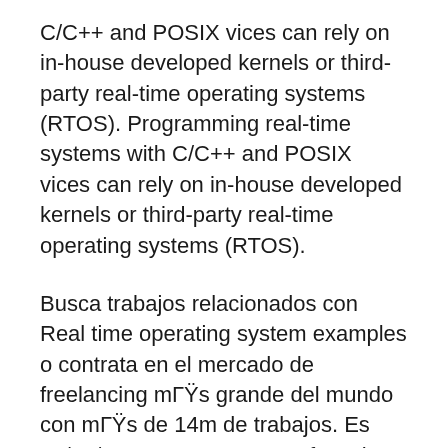C/C++ and POSIX vices can rely on in-house developed kernels or third-party real-time operating systems (RTOS). Programming real-time systems with C/C++ and POSIX vices can rely on in-house developed kernels or third-party real-time operating systems (RTOS).
Busca trabajos relacionados con Real time operating system examples o contrata en el mercado de freelancing mГŸs grande del mundo con mГŸs de 14m de trabajos. Es 17/02/2009В В· Concepts of Real Time Systems Microchip Technology. Real Time Operating Systems for Embedded Applications REST API concepts and examples.